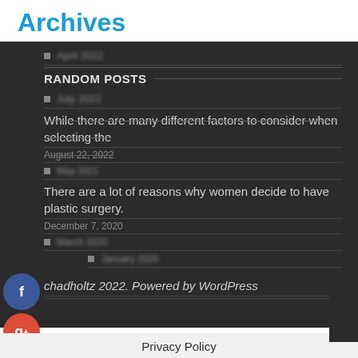Archives
[blurred link item]
RANDOM POSTS
[blurred link item]
While there are many different factors to consider when selecting the
August 22, 2022
[blurred link item]
There are a lot of reasons why women decide to have plastic surgery.
December 7, 2020
[blurred link item]
[blurred link item]
chadholtz 2022. Powered by WordPress
Privacy Policy